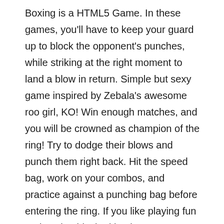Boxing is a HTML5 Game. In these games, you'll have to keep your guard up to block the opponent's punches, while striking at the right moment to land a blow in return. Simple but sexy game inspired by Zebala's awesome roo girl, KO! Win enough matches, and you will be crowned as champion of the ring! Try to dodge their blows and punch them right back. Hit the speed bag, work on your combos, and practice against a punching bag before entering the ring. If you like playing fun and cool unblocked boxing games at school or work then you came to the right place because we got the best boxing games right here! Boxing Games. Can you win each fight? Boxing Games Play boxing games online now! Added on 25 Jan 2021. You can play the game from both PC and mobile devices and the first to reach a score of 5 in the game wins the match! Play 4D Sports Boxing online! In these games, you'll have to keep your